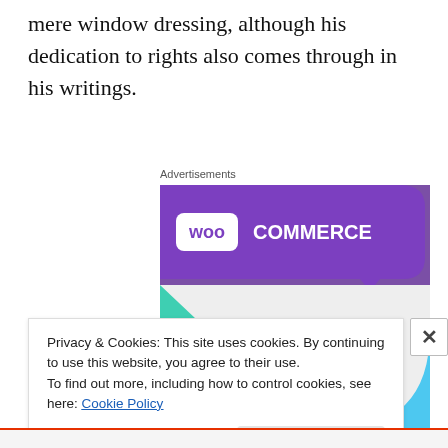mere window dressing, although his dedication to rights also comes through in his writings.
Advertisements
[Figure (illustration): WooCommerce advertisement banner with purple header containing WooCommerce logo, teal triangle shape on left, light blue quarter-circle on right, and text 'How to start selling subscriptions online' in bold black on light gray background.]
Privacy & Cookies: This site uses cookies. By continuing to use this website, you agree to their use.
To find out more, including how to control cookies, see here: Cookie Policy
Close and accept